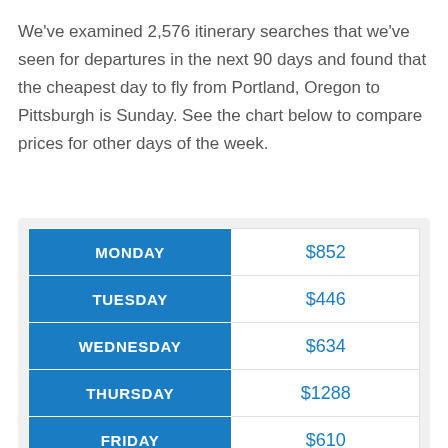We've examined 2,576 itinerary searches that we've seen for departures in the next 90 days and found that the cheapest day to fly from Portland, Oregon to Pittsburgh is Sunday. See the chart below to compare prices for other days of the week.
| Day | Price |
| --- | --- |
| MONDAY | $852 |
| TUESDAY | $446 |
| WEDNESDAY | $634 |
| THURSDAY | $1288 |
| FRIDAY | $610 |